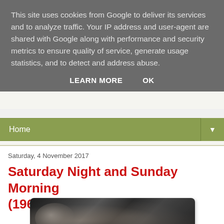This site uses cookies from Google to deliver its services and to analyze traffic. Your IP address and user-agent are shared with Google along with performance and security metrics to ensure quality of service, generate usage statistics, and to detect and address abuse.
LEARN MORE   OK
Home
Saturday, 4 November 2017
Saturday Night and Sunday Morning (1960)
[Figure (photo): Black and white film still from Saturday Night and Sunday Morning (1960), showing a man in an industrial setting]